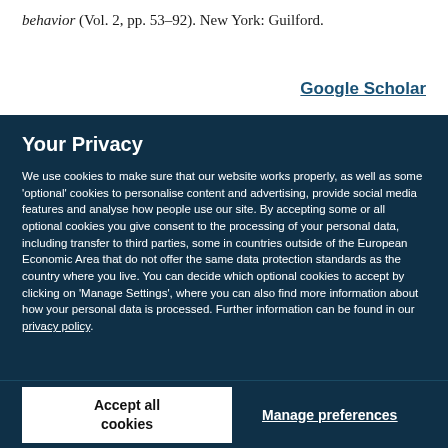behavior (Vol. 2, pp. 53–92). New York: Guilford.
Google Scholar
Your Privacy
We use cookies to make sure that our website works properly, as well as some 'optional' cookies to personalise content and advertising, provide social media features and analyse how people use our site. By accepting some or all optional cookies you give consent to the processing of your personal data, including transfer to third parties, some in countries outside of the European Economic Area that do not offer the same data protection standards as the country where you live. You can decide which optional cookies to accept by clicking on 'Manage Settings', where you can also find more information about how your personal data is processed. Further information can be found in our privacy policy.
Accept all cookies
Manage preferences